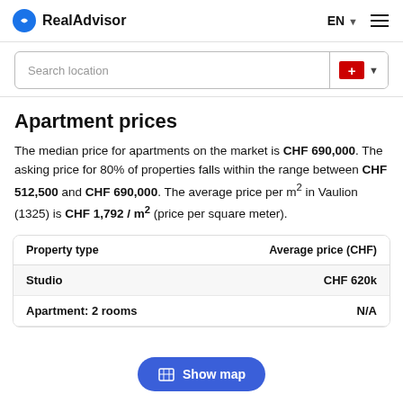RealAdvisor
Search location
Apartment prices
The median price for apartments on the market is CHF 690,000. The asking price for 80% of properties falls within the range between CHF 512,500 and CHF 690,000. The average price per m² in Vaulion (1325) is CHF 1,792 / m² (price per square meter).
| Property type | Average price (CHF) |
| --- | --- |
| Studio | CHF 620k |
| Apartment: 2 rooms | N/A |